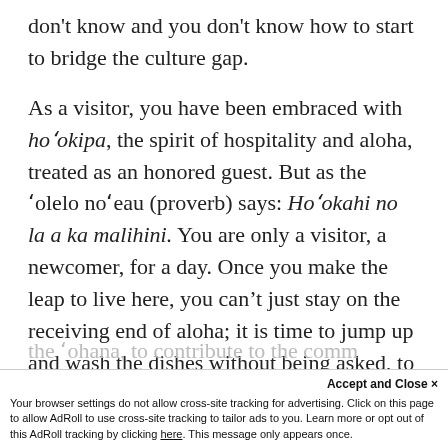don't know and you don't know how to start to bridge the culture gap.
As a visitor, you have been embraced with ho'okipa, the spirit of hospitality and aloha, treated as an honored guest. But as the 'olelo no'eau (proverb) says: Ho'okahi no la a ka malihini. You are only a visitor, a newcomer, for a day. Once you make the leap to live here, you can't just stay on the receiving end of aloha; it is time to jump up and wash the dishes without being asked, to be a part of
the 'ohana, to contribute to the comm...
Accept and Close ×
Your browser settings do not allow cross-site tracking for advertising. Click on this page to allow AdRoll to use cross-site tracking to tailor ads to you. Learn more or opt out of this AdRoll tracking by clicking here. This message only appears once.